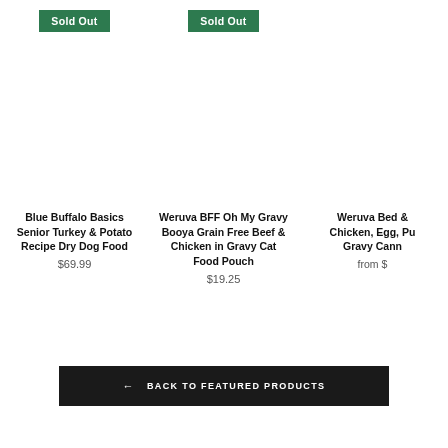[Figure (screenshot): Product card 1: Sold Out badge (green), blank image area, product name and price below]
Blue Buffalo Basics Senior Turkey & Potato Recipe Dry Dog Food
$69.99
[Figure (screenshot): Product card 2: Sold Out badge (green), blank image area, product name and price below]
Weruva BFF Oh My Gravy Booya Grain Free Beef & Chicken in Gravy Cat Food Pouch
$19.25
[Figure (screenshot): Product card 3 (partially visible): Sold Out badge absent, blank image area, partially visible product name and price]
Weruva Bed & Breakfast Chicken, Egg, Pu... Gravy Cann...
from $...
← BACK TO FEATURED PRODUCTS